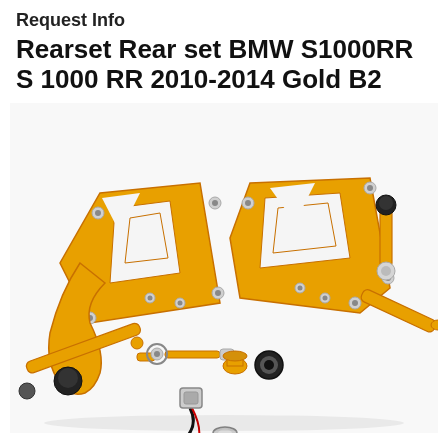Request Info
Rearset Rear set BMW S1000RR S 1000 RR 2010-2014 Gold B2
[Figure (photo): Gold anodized aluminum motorcycle rearset kit for BMW S1000RR 2010-2014, showing left and right foot peg brackets, shift lever, brake lever, linkage rod with rod end bearing, rubber cap, and brake light switch assembly with wiring, laid out on white background]